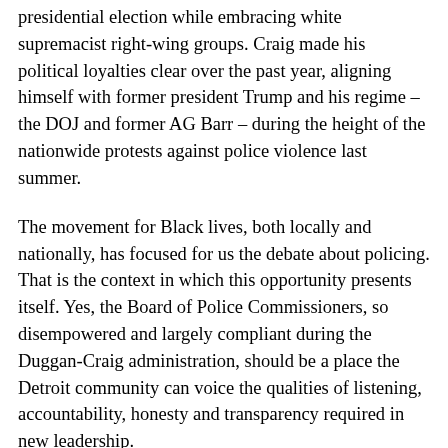presidential election while embracing white supremacist right-wing groups. Craig made his political loyalties clear over the past year, aligning himself with former president Trump and his regime – the DOJ and former AG Barr – during the height of the nationwide protests against police violence last summer.
The movement for Black lives, both locally and nationally, has focused for us the debate about policing. That is the context in which this opportunity presents itself. Yes, the Board of Police Commissioners, so disempowered and largely compliant during the Duggan-Craig administration, should be a place the Detroit community can voice the qualities of listening, accountability, honesty and transparency required in new leadership.
But this is the moment when policing can truly be rethought and reimagined as public safety, opening the way for violence reduction instead of escalation, for community-based restorative justice, for neighborhood services, programs, and institutions that truly address the root causes of crime.